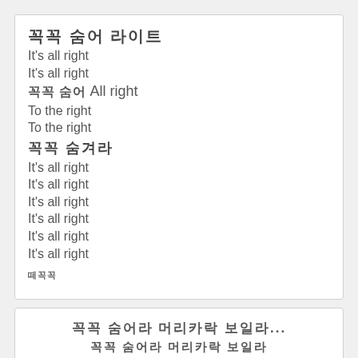[Korean bold] It's all right / It's all right / [Korean bold] All right / To the right / To the right / [Korean bold] / It's all right / It's all right / It's all right / It's all right / It's all right / It's all right / [Korean small]
[Korean bold centered] ... / [Korean bold centered]